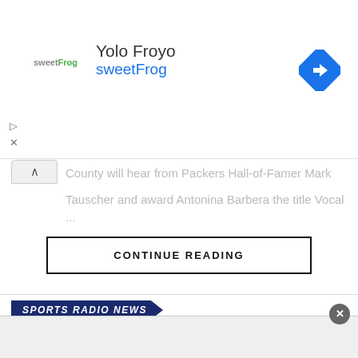[Figure (screenshot): Advertisement banner for Yolo Froyo sweetFrog with logo, text, and map navigation icon]
County will hear from Packers Hall-of-Famer Mark Tauscher and award Antonina Barbera the title Vocal ...
CONTINUE READING
[Figure (logo): SPORTS RADIO NEWS label badge in dark navy blue]
Pat McAfee: ‘Hard to Believe, But Tom Brady on The Masked Singer Makes Sense’
[Figure (screenshot): Bottom advertisement overlay with close button]